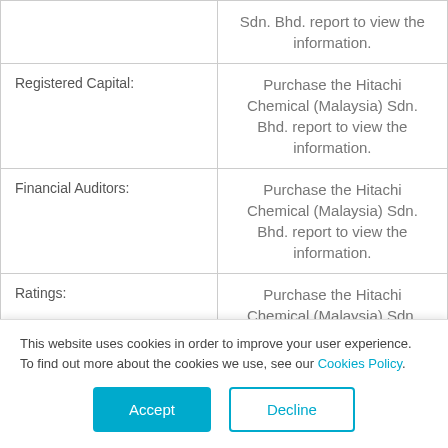| Field | Value |
| --- | --- |
|  | Sdn. Bhd. report to view the information. |
| Registered Capital: | Purchase the Hitachi Chemical (Malaysia) Sdn. Bhd. report to view the information. |
| Financial Auditors: | Purchase the Hitachi Chemical (Malaysia) Sdn. Bhd. report to view the information. |
| Ratings: | Purchase the Hitachi Chemical (Malaysia) Sdn. Bhd. report to view the information. |
| Incorporation Date: | April 13, 1989 |
This website uses cookies in order to improve your user experience. To find out more about the cookies we use, see our Cookies Policy.